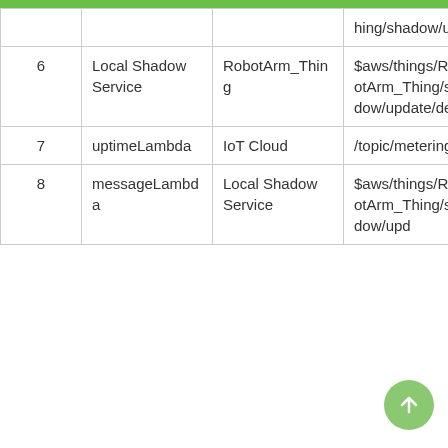| # | Component | Source | Topic |
| --- | --- | --- | --- |
|  |  |  | hing/shadow/update |
| 6 | Local Shadow Service | RobotArm_Thing | $aws/things/RobotArm_Thing/shadow/update/delta |
| 7 | uptimeLambda | IoT Cloud | /topic/metering |
| 8 | messageLambda | Local Shadow Service | $aws/things/RobotArm_Thing/shadow/upd |